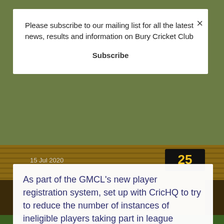Please subscribe to our mailing list for all the latest news, results and information on Bury Cricket Club
Subscribe
[Figure (photo): Background photo of cricket club building with wooden panels and scoreboard showing 25, with text '2020 Player Registration' and date '15 Jul 2020']
As part of the GMCL's new player registration system, set up with CricHQ to try to reduce the number of instances of ineligible players taking part in league matches, each senior and junior player now needs to individually register themselves on the system.
Every player/junior parent must register through this system before they will be allowed to play any senior or junior league